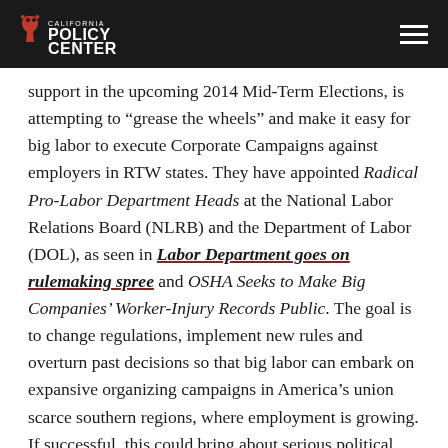California Policy Center
support in the upcoming 2014 Mid-Term Elections, is attempting to “grease the wheels” and make it easy for big labor to execute Corporate Campaigns against employers in RTW states. They have appointed Radical Pro-Labor Department Heads at the National Labor Relations Board (NLRB) and the Department of Labor (DOL), as seen in Labor Department goes on rulemaking spree and OSHA Seeks to Make Big Companies’ Worker-Injury Records Public. The goal is to change regulations, implement new rules and overturn past decisions so that big labor can embark on expansive organizing campaigns in America’s union scarce southern regions, where employment is growing. If successful, this could bring about serious political upheaval in favor of the